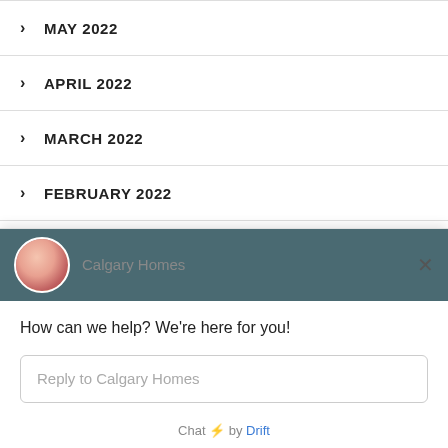> MAY 2022
> APRIL 2022
> MARCH 2022
> FEBRUARY 2022
> JANUARY 2022
> DECEMBER 2021
[Figure (screenshot): Chat widget from Drift showing Calgary Homes chat interface with avatar, greeting message 'How can we help? We are here for you!', reply input field, and 'Chat by Drift' footer.]